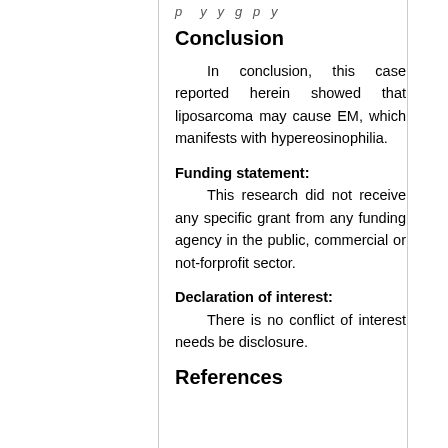p…ly g p y
Conclusion
In conclusion, this case reported herein showed that liposarcoma may cause EM, which manifests with hypereosinophilia.
Funding statement: This research did not receive any specific grant from any funding agency in the public, commercial or not-forprofit sector.
Declaration of interest: There is no conflict of interest needs be disclosure.
References